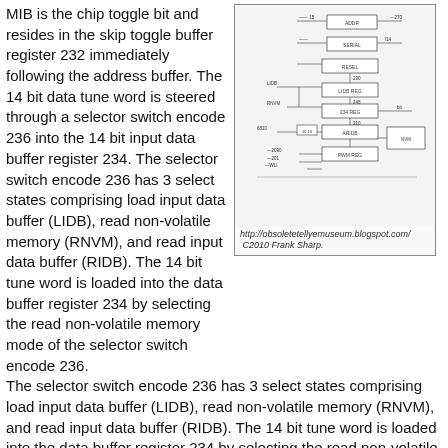MIB is the chip toggle bit and resides in the skip toggle buffer register 232 immediately following the address buffer. The 14 bit data tune word is steered through a selector switch encode 236 into the 14 bit input data buffer register 234. The selector switch encode 236 has 3 select states comprising load input data buffer (LIDB), read non-volatile memory (RNVM), and read input data buffer (RIDB). The 14 bit tune word is loaded into the data buffer register 234 by selecting the read non-volatile memory mode of the selector switch encode 236.
[Figure (schematic): Block diagram schematic showing chip registers and connections including skip toggle buffer register 232, input data buffer register 234, selector switch encode 236, and related components. Caption: http://obsoletetellyemuseum.blogspot.com/ C2010 Frank Sharp.]
http://obsoletetellyemuseum.blogspot.com/ C2010 Frank Sharp.
The binary tune word in data buffer register 234 is loaded parallel into the 14 bit PWM logic latch 248 when there is a load PWM (LPWM) signal on the 14 bit data latch 238. The 14 bit tune word in the PWM logic latch 248 is used as a compare word for the 14 bit pulse width modulator counter 250. The pulse width modulator operates with a 1 MHz input clock from the PWM buffer and oscillator 252 that is fed into